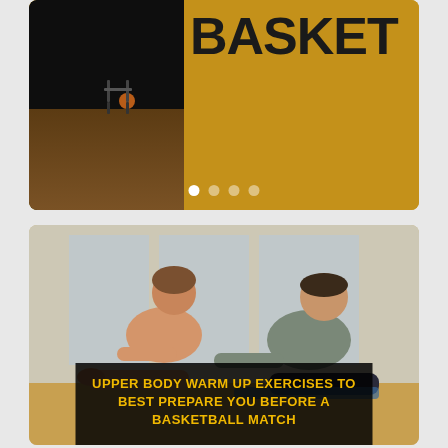[Figure (photo): A basketball training banner showing a dark gym interior photo on the left and a golden/orange background on the right with bold black text reading 'BASKET' (partially cropped). Four carousel navigation dots are shown below.]
[Figure (photo): Two athletes (a woman and a man) stretching on a gym floor, seen from front. A dark semi-transparent overlay box in the center shows yellow bold text reading 'UPPER BODY WARM UP EXERCISES TO BEST PREPARE YOU BEFORE A BASKETBALL MATCH'.]
UPPER BODY WARM UP EXERCISES TO BEST PREPARE YOU BEFORE A BASKETBALL MATCH